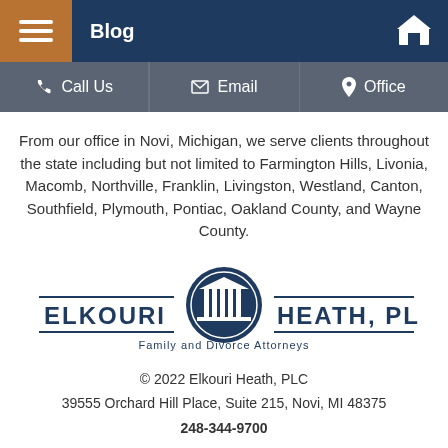Blog
Call Us  |  Email  |  Office
From our office in Novi, Michigan, we serve clients throughout the state including but not limited to Farmington Hills, Livonia, Macomb, Northville, Franklin, Livingston, Westland, Canton, Southfield, Plymouth, Pontiac, Oakland County, and Wayne County.
[Figure (logo): Elkouri Heath, PLC — Family and Divorce Attorneys logo with circular column emblem]
© 2022 Elkouri Heath, PLC
39555 Orchard Hill Place, Suite 215, Novi, MI 48375
248-344-9700
Resources |  Privacy Policy
Disclaimer |  Sitemap
SITE POWERED BY